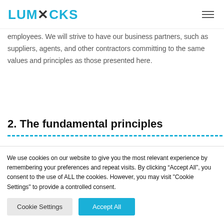LUMICKS
employees. We will strive to have our business partners, such as suppliers, agents, and other contractors committing to the same values and principles as those presented here.
2. The fundamental principles
We use cookies on our website to give you the most relevant experience by remembering your preferences and repeat visits. By clicking “Accept All”, you consent to the use of ALL the cookies. However, you may visit "Cookie Settings" to provide a controlled consent.